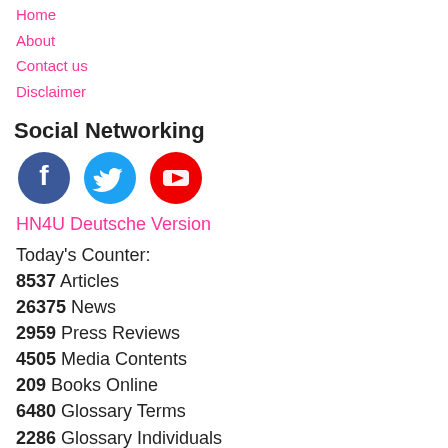Home
About
Contact us
Disclaimer
Social Networking
[Figure (illustration): Three social media icons: Facebook (dark blue circle with white f), Twitter (cyan circle with white bird), YouTube (red circle with white play button)]
HN4U Deutsche Version
Today's Counter:
8537 Articles
26375 News
2959 Press Reviews
4505 Media Contents
209 Books Online
6480 Glossary Terms
2286 Glossary Individuals